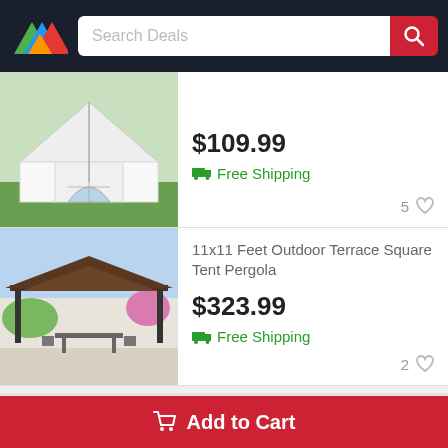Search Deals
[Figure (photo): White pop-up canopy tent with side panels and arched window, set outdoors on grass]
$109.99
Free Shipping
[Figure (photo): 11x11 feet outdoor terrace square tent pergola with dark brown double-tier roof, patio furniture underneath, surrounded by flowers and greenery]
11x11 Feet Outdoor Terrace Square Tent Pergola
$323.99
Free Shipping
Questions? We're here to help!
Add to Cart